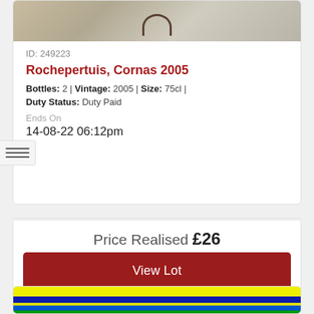[Figure (photo): Top portion of a wine bottle or vessel with textured grey background]
ID: 249223
Rochepertuis, Cornas 2005
Bottles: 2 | Vintage: 2005 | Size: 75cl |
Duty Status: Duty Paid
Ends On
14-08-22 06:12pm
Price Realised £26
View Lot
[Figure (photo): Bottom portion showing colourful striped image with yellow, blue, and green bands]